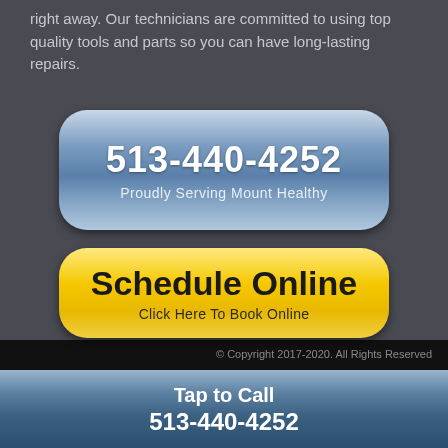right away. Our technicians are committed to using top quality tools and parts so you can have long-lasting repairs.
[Figure (infographic): Blue pill-shaped button with phone number 513-440-4252 and text 'Proudly Serving Mount Healthy']
[Figure (infographic): Yellow pill-shaped button with text 'Schedule Online' and subtext 'Click Here To Book Online']
© Copyright 2017-2020. All Rights Reserved
Tap to Call
513-440-4252